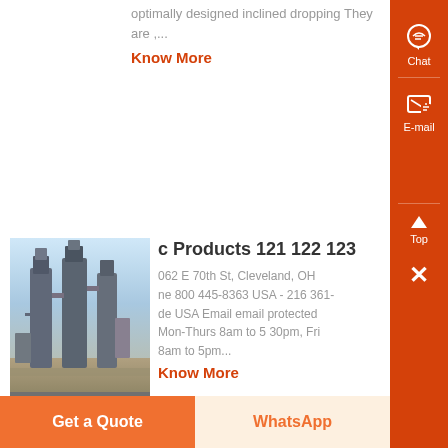optimally designed inclined dropping They are ,...
Know More
[Figure (photo): Industrial cement or chemical plant with large vertical towers/silos against a bright sky]
c Products 121 122 123
062 E 70th St, Cleveland, OH ne 800 445-8363 USA - 216 361- de USA Email email protected Mon-Thurs 8am to 5 30pm, Fri 8am to 5pm...
Know More
[Figure (photo): Industrial machinery or mill equipment, partial view]
able,ball mill,stone gger,spiral chute ,
Get a Quote
WhatsApp